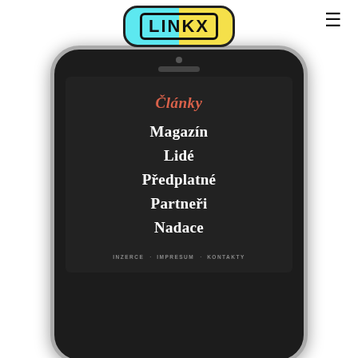[Figure (logo): LINKX logo with cyan-yellow split background and rounded rectangle border]
[Figure (screenshot): Mobile phone (iPhone-style) showing a dark navigation menu with items: Články (active, red), Magazín, Lidé, Předplatné, Partneři, Nadace, and footer links INZERCE · IMPRESUM · KONTAKTY]